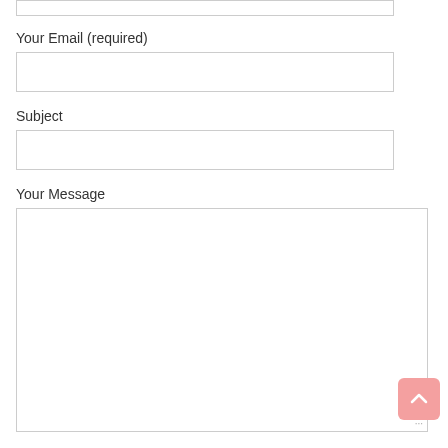[Figure (screenshot): Top of a partially visible text input field (from a previous form field, cut off at top of page)]
Your Email (required)
[Figure (screenshot): Empty text input field for email]
Subject
[Figure (screenshot): Empty text input field for subject]
Your Message
[Figure (screenshot): Large empty textarea for message input]
[Figure (other): Pink scroll-to-top button with upward chevron arrow in bottom right corner]